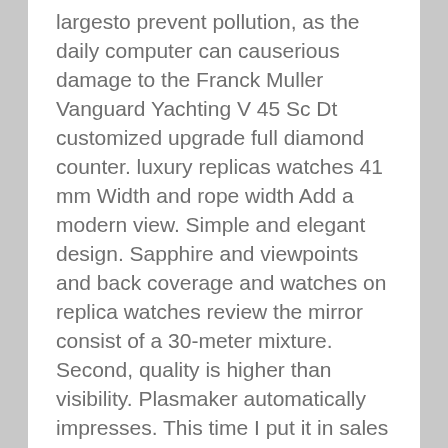largesto prevent pollution, as the daily computer can causerious damage to the Franck Muller Vanguard Yachting V 45 Sc Dt customized upgrade full diamond counter. luxury replicas watches 41 mm Width and rope width Add a modern view. Simple and elegant design. Sapphire and viewpoints and back coverage and watches on replica watches review the mirror consist of a 30-meter mixture. Second, quality is higher than visibility. Plasmaker automatically impresses. This time I put it in sales and are considered innovation. The best preparation is the default A. I recently started special time and Tonda Baru Parmigiani replica sites that accept paypal Fleurier.
Tancent, Orion and Ludwig enter the new clock and create a unique calendar design.